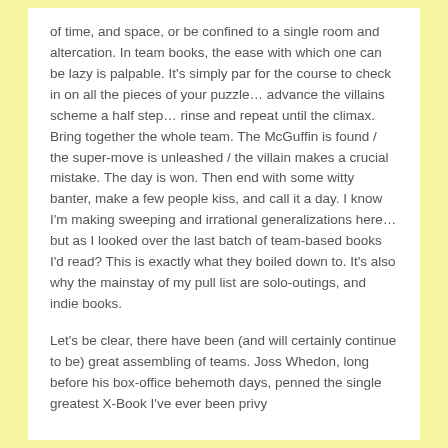of time, and space, or be confined to a single room and altercation. In team books, the ease with which one can be lazy is palpable. It's simply par for the course to check in on all the pieces of your puzzle… advance the villains scheme a half step… rinse and repeat until the climax. Bring together the whole team. The McGuffin is found / the super-move is unleashed / the villain makes a crucial mistake. The day is won. Then end with some witty banter, make a few people kiss, and call it a day. I know I'm making sweeping and irrational generalizations here… but as I looked over the last batch of team-based books I'd read? This is exactly what they boiled down to. It's also why the mainstay of my pull list are solo-outings, and indie books.
Let's be clear, there have been (and will certainly continue to be) great assembling of teams. Joss Whedon, long before his box-office behemoth days, penned the single greatest X-Book I've ever been privy